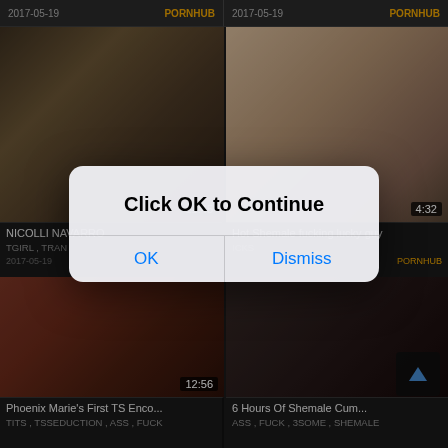[Figure (screenshot): Video grid page showing adult content thumbnails with a modal dialog overlay saying 'Click OK to Continue' with OK and Dismiss buttons]
2017-05-19
PORNHUB
2017-05-19
PORNHUB
NICOLLI NAVARRO
TGIRL , TRAN
2017-05-19
Hot Shemale fucking lucky guy
ICKS
PORNHUB
Click OK to Continue
OK
Dismiss
Phoenix Marie's First TS Enco...
TITS , TSSEDUCTION , ASS , FUCK
6 Hours Of Shemale Cum...
ASS , FUCK , 3SOME , SHEMALE